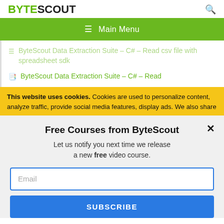BYTESCOUT
≡  Main Menu
ByteScout Data Extraction Suite – C# – Read csv file with spreadsheet sdk
ByteScout Data Extraction Suite – C# – Read
This website uses cookies. Cookies are used to personalize content, analyze traffic, provide social media features, display ads. We also share
Free Courses from ByteScout
Let us notify you next time we release a new free video course.
Email
SUBSCRIBE